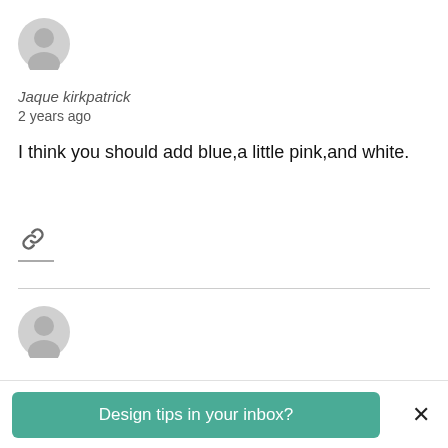[Figure (illustration): Gray default user avatar icon (person silhouette in circle), first comment]
Jaque kirkpatrick
2 years ago
I think you should add blue,a little pink,and white.
[Figure (illustration): Link/chain icon below the comment]
[Figure (illustration): Gray default user avatar icon (person silhouette in circle), second comment]
Design tips in your inbox?